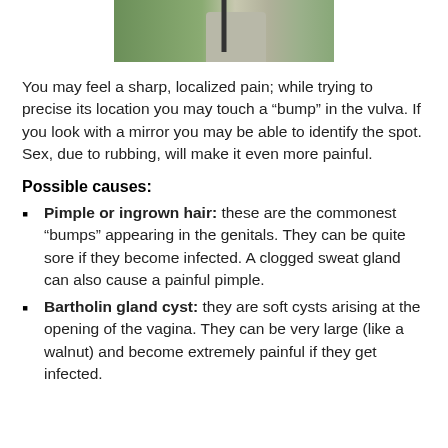[Figure (photo): Partial photo of an outdoor scene showing grass, a path or road, and what appears to be a sign or post.]
You may feel a sharp, localized pain; while trying to precise its location you may touch a “bump” in the vulva. If you look with a mirror you may be able to identify the spot. Sex, due to rubbing, will make it even more painful.
Possible causes:
Pimple or ingrown hair: these are the commonest “bumps” appearing in the genitals. They can be quite sore if they become infected. A clogged sweat gland can also cause a painful pimple.
Bartholin gland cyst: they are soft cysts arising at the opening of the vagina. They can be very large (like a walnut) and become extremely painful if they get infected.